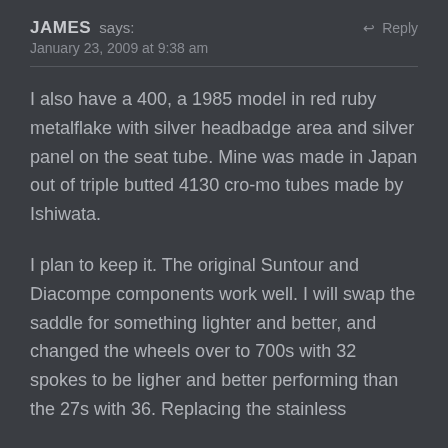JAMES says:
January 23, 2009 at 9:38 am
I also have a 400, a 1985 model in red ruby metalflake with silver headbadge area and silver panel on the seat tube. Mine was made in Japan out of triple butted 4130 cro-mo tubes made by Ishiwata.
I plan to keep it. The original Suntour and Diacompe components work well. I will swap the saddle for something lighter and better, and changed the wheels over to 700s with 32 spokes to be ligher and better performing than the 27s with 36. Replacing the stainless